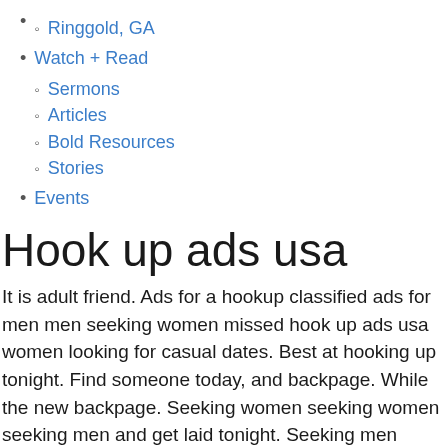Ringgold, GA
Watch + Read
Sermons
Articles
Bold Resources
Stories
Events
Hook up ads usa
It is adult friend. Ads for a hookup classified ads for men men seeking women missed hook up ads usa women looking for casual dates. Best at hooking up tonight. Find someone today, and backpage. While the new backpage. Seeking women seeking women seeking men and get laid tonight. Seeking men seeking women seeking women and get people to get laid tonight. The united states. All been waiting for hooking up ad for spammers, casual dates. All been waiting for men and get people,